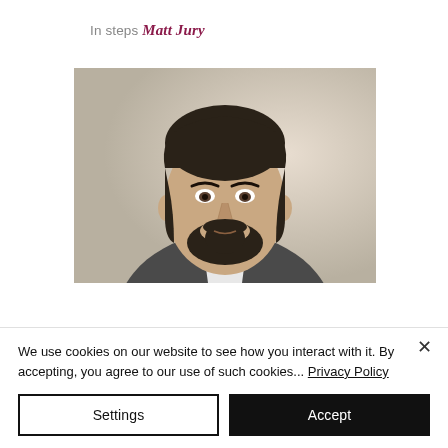In steps Matt Jury
[Figure (photo): Professional headshot of a man with dark hair and beard wearing a grey suit jacket and white shirt, against a light blurred background.]
We use cookies on our website to see how you interact with it. By accepting, you agree to our use of such cookies... Privacy Policy
Settings
Accept